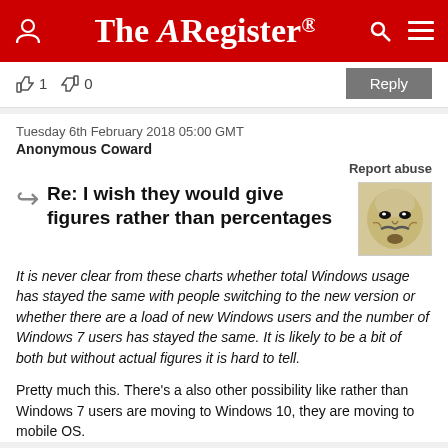The Register
1  0  Reply
Tuesday 6th February 2018 05:00 GMT
Anonymous Coward
Report abuse
Re: I wish they would give figures rather than percentages
It is never clear from these charts whether total Windows usage has stayed the same with people switching to the new version or whether there are a load of new Windows users and the number of Windows 7 users has stayed the same. It is likely to be a bit of both but without actual figures it is hard to tell.
Pretty much this. There's a also other possibility like rather than Windows 7 users are moving to Windows 10, they are moving to mobile OS.